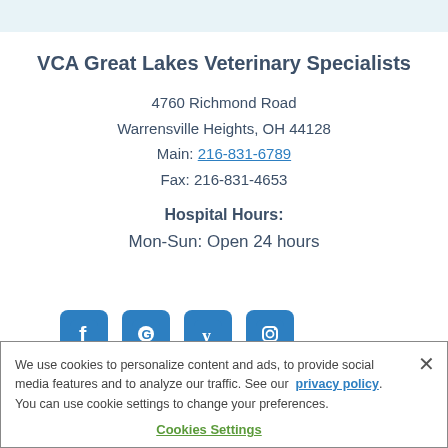VCA Great Lakes Veterinary Specialists
4760 Richmond Road
Warrensville Heights, OH 44128
Main: 216-831-6789
Fax: 216-831-4653
Hospital Hours:
Mon-Sun: Open 24 hours
[Figure (logo): Four social media icons: Facebook, Google, Yelp, Instagram — all in blue]
We use cookies to personalize content and ads, to provide social media features and to analyze our traffic. See our privacy policy. You can use cookie settings to change your preferences.
Cookies Settings